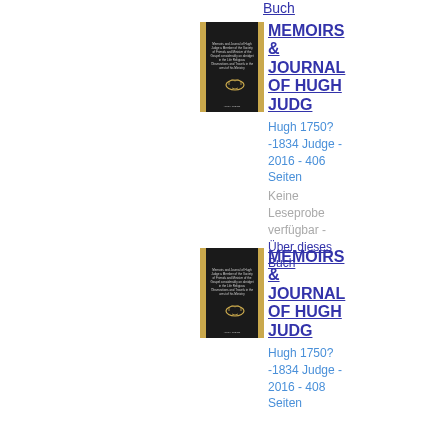Buch
[Figure (illustration): Book cover of MEMOIRS & JOURNAL OF HUGH JUDG, black cover with gold stripes and laurel emblem]
MEMOIRS & JOURNAL OF HUGH JUDG
Hugh 1750?-1834 Judge - 2016 - 406 Seiten
Keine Leseprobe verfügbar - Über dieses Buch
[Figure (illustration): Book cover of MEMOIRS & JOURNAL OF HUGH JUDG, black cover with gold stripes and laurel emblem]
MEMOIRS & JOURNAL OF HUGH JUDG
Hugh 1750?-1834 Judge - 2016 - 408 Seiten